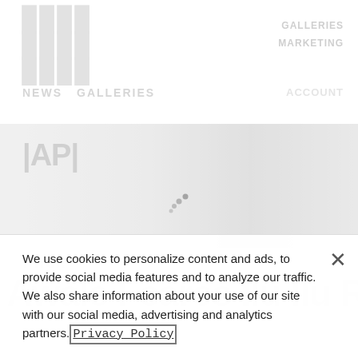[Figure (screenshot): Blurred/faded website background showing a news/media site with logo, navigation bar (NEWS, GALLERIES), a main image area with AP wire photo, a blurred article title and heading, and loading spinner dots overlaid on the content.]
We use cookies to personalize content and ads, to provide social media features and to analyze our traffic. We also share information about your use of our site with our social media, advertising and analytics partners. Privacy Policy